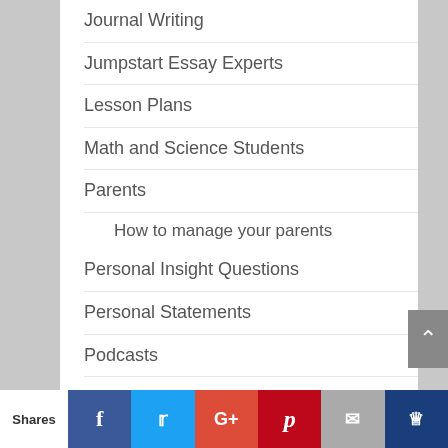Journal Writing
Jumpstart Essay Experts
Lesson Plans
Math and Science Students
Parents
How to manage your parents
Personal Insight Questions
Personal Statements
Podcasts
Resources
Favorite Books
Sample Essays
Scholarship Essays
Storytelling